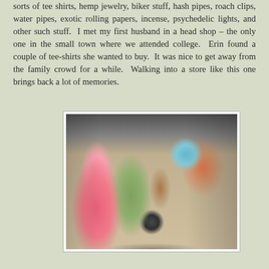sorts of tee shirts, hemp jewelry, biker stuff, hash pipes, roach clips, water pipes, exotic rolling papers, incense, psychedelic lights, and other such stuff.  I met my first husband in a head shop – the only one in the small town where we attended college.  Erin found a couple of tee-shirts she wanted to buy.  It was nice to get away from the family crowd for a while.  Walking into a store like this one brings back a lot of memories.
[Figure (photo): Photo of people browsing in a head shop / novelty store. A young woman in a pink shirt and denim shorts stands in an aisle, while another person crouches near merchandise racks. The store walls are covered with various items for sale.]